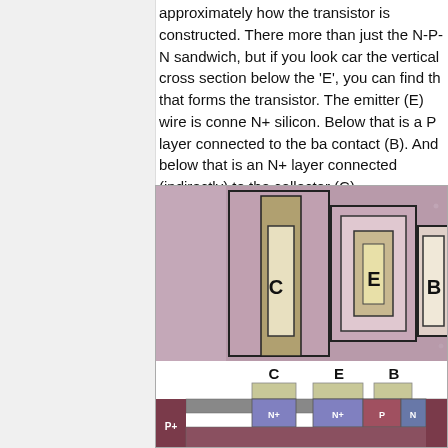approximately how the transistor is constructed. There more than just the N-P-N sandwich, but if you look car the vertical cross section below the 'E', you can find th that forms the transistor. The emitter (E) wire is conne N+ silicon. Below that is a P layer connected to the ba contact (B). And below that is an N+ layer connected (indirectly) to the collector (C).
[Figure (engineering-diagram): Microscope photograph (top) of a bipolar NPN transistor showing labeled contact pads C (collector), E (emitter), and B (base) visible as square/rectangular regions with concentric borders in a pink/green/purple colorized die image. Below the photo is a cross-sectional schematic diagram showing the physical layer structure: P+ substrate on left, N+ and N+ doped regions for collector and emitter contacts, P region for base, N region, with metal contact pads above labeled C, E, B. The layers are color-coded: olive/tan for metal contacts, gray for top silicon surface, mauve/rose for P-type, purple/blue for N+ regions.]